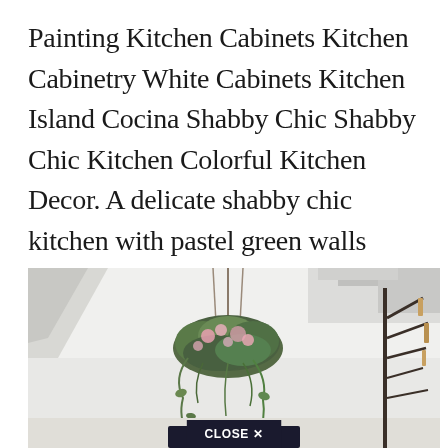Painting Kitchen Cabinets Kitchen Cabinetry White Cabinets Kitchen Island Cocina Shabby Chic Shabby Chic Kitchen Colorful Kitchen Decor. A delicate shabby chic kitchen with pastel green walls white vintage furniture a vintage chandelier pastel pink touches and floral linens.
[Figure (photo): A shabby chic kitchen interior showing a hanging floral and greenery basket chandelier suspended from a white ceiling with exposed beams. On the right side, a decorative iron tree-shaped utensil or bottle holder with items hanging from it. The overall aesthetic is bright and airy.]